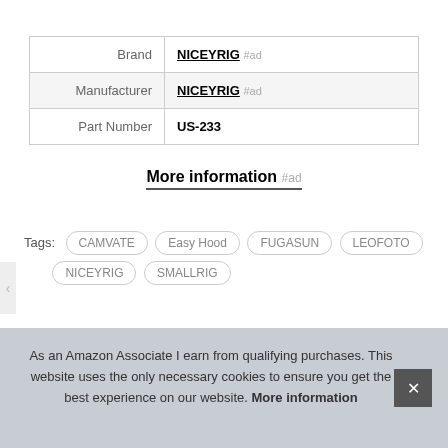|  |  |
| --- | --- |
| Brand | NICEYRIG #ad |
| Manufacturer | NICEYRIG #ad |
| Part Number | US-233 |
More information #ad
Tags: CAMVATE Easy Hood FUGASUN LEOFOTO NICEYRIG SMALLRIG
As an Amazon Associate I earn from qualifying purchases. This website uses the only necessary cookies to ensure you get the best experience on our website. More information